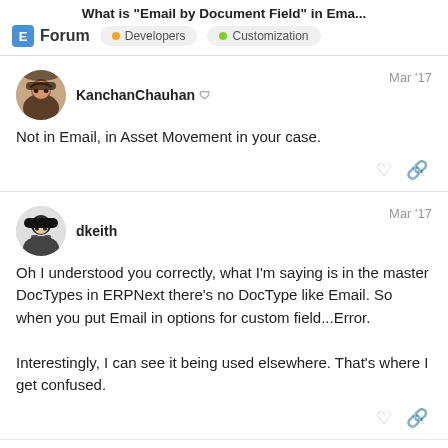What is “Email by Document Field” in Ema...
Forum  Developers  Customization
KanchanChauhan  Mar '17
Not in Email, in Asset Movement in your case.
dkeith  Mar '17
Oh I understood you correctly, what I’m saying is in the master DocTypes in ERPNext there’s no DocType like Email. So when you put Email in options for custom field...Error.

Interestingly, I can see it being used elsewhere. That’s where I get confused.